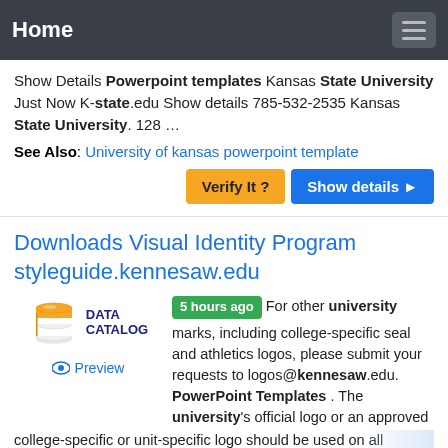Home
Show Details Powerpoint templates Kansas State University Just Now K-state.edu Show details 785-532-2535 Kansas State University. 128 …
See Also: University of kansas powerpoint template
Verify It ? | Show details ▶
Downloads Visual Identity Program styleguide.kennesaw.edu
[Figure (logo): Data Catalog logo with stacked disk/database icon in orange and blue, text DATA CATALOG]
5 hours ago  For other university marks, including college-specific seal and athletics logos, please submit your requests to logos@kennesaw.edu. PowerPoint Templates . The university's official logo or an approved college-specific or unit-specific logo should be used on all
Preview